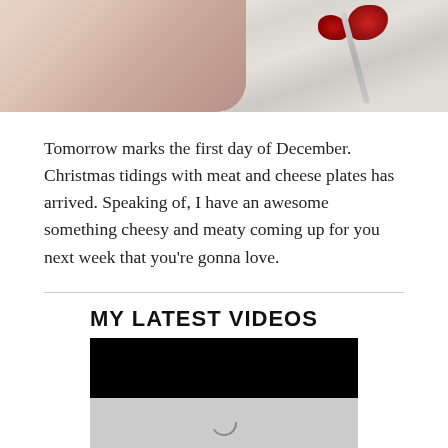[Figure (photo): Cropped top portion of a photo showing a hand holding food items (red meat/charcuterie) over a marble surface, with a metal utensil visible on the right side.]
Tomorrow marks the first day of December. Christmas tidings with meat and cheese plates has arrived. Speaking of, I have an awesome something cheesy and meaty coming up for you next week that you're gonna love.
MY LATEST VIDEOS
[Figure (screenshot): A video player showing a black screen with a loading spinner visible at the bottom.]